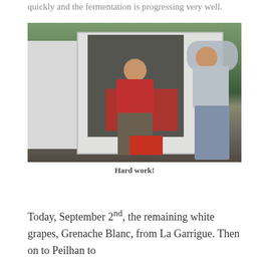quickly and the fermentation is progressing very well.
[Figure (photo): Two people working near the back of a white van outdoors. One person in a red shirt stands in the van's open cargo area next to a large red container, another person in a grey striped top stands to the right with arms raised. A red harvest crate sits on the ground. Green vegetation visible in the background.]
Hard work!
Today, September 2nd, the remaining white grapes, Grenache Blanc, from La Garrigue. Then on to Peilhan to